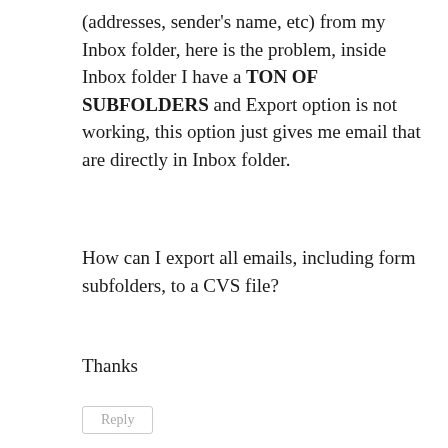(addresses, sender's name, etc) from my Inbox folder, here is the problem, inside Inbox folder I have a TON OF SUBFOLDERS and Export option is not working, this option just gives me email that are directly in Inbox folder.
How can I export all emails, including form subfolders, to a CVS file?
Thanks
Reply
Myles Harrison
March 19, 2016 at 2:23 pm